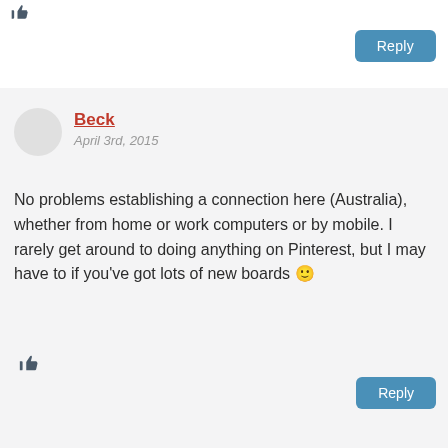[Figure (other): Thumbs up icon at top left]
Reply
Beck
April 3rd, 2015
No problems establishing a connection here (Australia), whether from home or work computers or by mobile. I rarely get around to doing anything on Pinterest, but I may have to if you've got lots of new boards 🙂
[Figure (other): Thumbs up like icon]
Reply